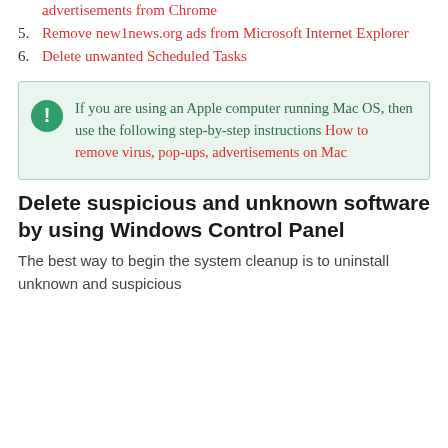advertisements from Chrome
5. Remove new1news.org ads from Microsoft Internet Explorer
6. Delete unwanted Scheduled Tasks
If you are using an Apple computer running Mac OS, then use the following step-by-step instructions How to remove virus, pop-ups, advertisements on Mac
Delete suspicious and unknown software by using Windows Control Panel
The best way to begin the system cleanup is to uninstall unknown and suspicious